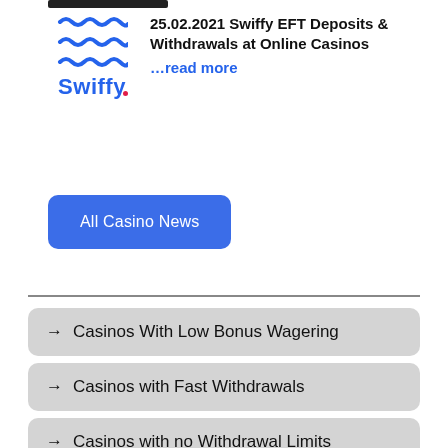[Figure (logo): Swiffy logo with blue wavy lines and bold blue text 'Swiffy' with a pink dot]
25.02.2021 Swiffy EFT Deposits & Withdrawals at Online Casinos
…read more
All Casino News
→ Casinos With Low Bonus Wagering
→ Casinos with Fast Withdrawals
→ Casinos with no Withdrawal Limits
→ VIP Casinos
→ 24/7 Support Casinos
→ New Online Casinos